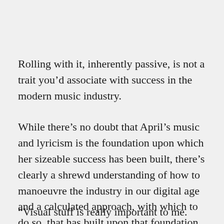Rolling with it, inherently passive, is not a trait you’d associate with success in the modern music industry.
While there’s no doubt that April’s music and lyricism is the foundation upon which her sizeable success has been built, there’s clearly a shrewd understanding of how to manoeuvre the industry in our digital age and a calculated approach, with which to do so, that has built upon that foundation.
“Visual stuff is really important to me. You’re always going to remember